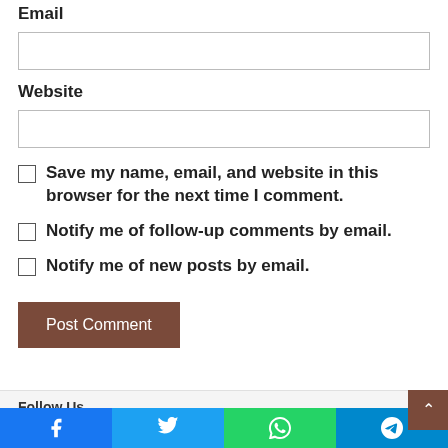Email
[Figure (other): Email input text box]
Website
[Figure (other): Website input text box]
Save my name, email, and website in this browser for the next time I comment.
Notify me of follow-up comments by email.
Notify me of new posts by email.
Post Comment
Follow Us
[Figure (infographic): Social media share bar with Facebook, Twitter, WhatsApp, and Telegram buttons]